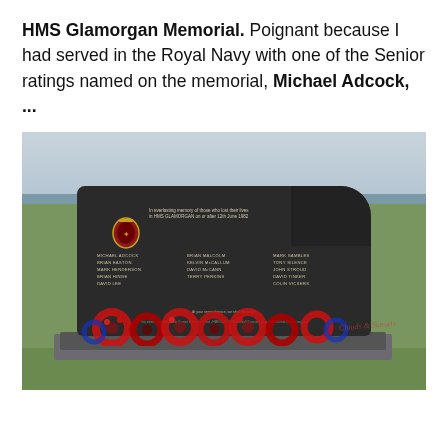HMS Glamorgan Memorial. Poignant because I had served in the Royal Navy with one of the Senior ratings named on the memorial, Michael Adcock, ...
[Figure (photo): Photograph of the HMS Glamorgan Memorial stone in a field with a grey sky and sea visible in the background. The dark stone memorial plaque lists the names of those lost on HMS Glamorgan on or after 12th June 1982, with red poppy wreaths laid at its base. A watermark in red italic text appears in the bottom right corner.]